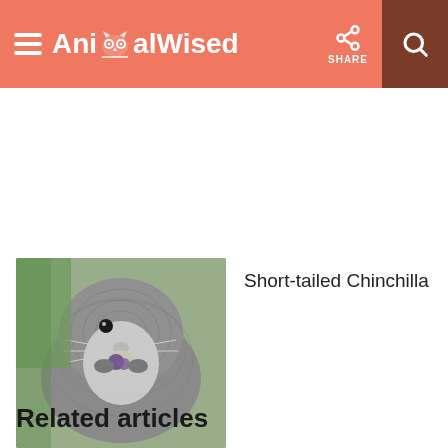AnimalWised — SHARE
[Figure (photo): Close-up photo of a grey short-tailed chinchilla eating a purple flower or berry]
Short-tailed Chinchilla
Related articles